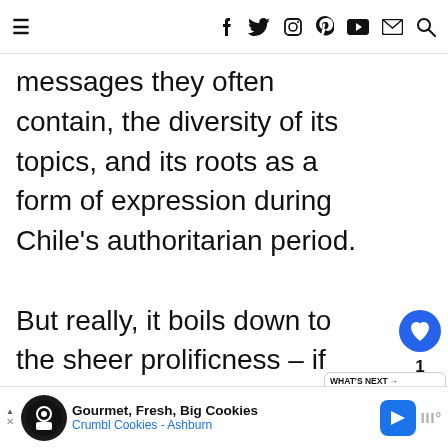≡  f  Twitter  Instagram  Pinterest  YouTube  Mail  Search
messages they often contain, the diversity of its topics, and its roots as a form of expression during Chile's authoritarian period.

But really, it boils down to the sheer prolificness – if you want to find the famous artworks, take a walk along Urriola Street, and down Almirante ... Street. I highly recommend taking the free street art walking tour to learn all about
[Figure (infographic): What's Next promotional box with thumbnail image and text '18 epic things to do in...']
[Figure (infographic): Crumbl Cookies advertisement bar: Gourmet, Fresh, Big Cookies - Crumbl Cookies Ashburn]